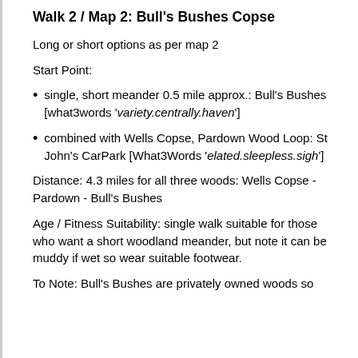Walk 2 / Map 2: Bull's Bushes Copse
Long or short options as per map 2
Start Point:
single, short meander 0.5 mile approx.: Bull's Bushes [what3words 'variety.centrally.haven']
combined with Wells Copse, Pardown Wood Loop: St John's CarPark [What3Words 'elated.sleepless.sigh']
Distance: 4.3 miles for all three woods: Wells Copse - Pardown - Bull's Bushes
Age / Fitness Suitability: single walk suitable for those who want a short woodland meander, but note it can be muddy if wet so wear suitable footwear.
To Note: Bull's Bushes are privately owned woods so